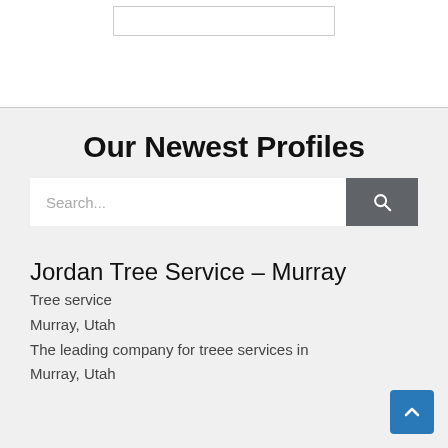[Figure (screenshot): White top section with a bordered rectangle input box at top]
Our Newest Profiles
[Figure (screenshot): Search bar with text placeholder 'Search...' and a dark gray search button with magnifying glass icon]
Jordan Tree Service – Murray
Tree service
Murray, Utah
The leading company for treee services in Murray, Utah